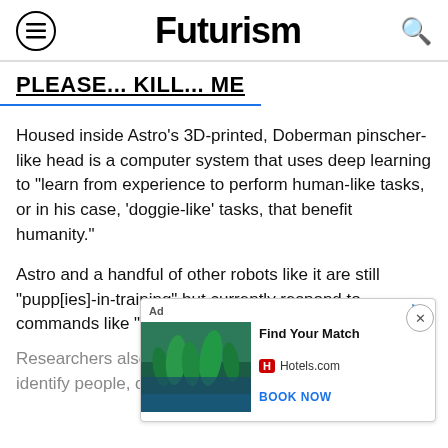Futurism
PLEASE... KILL... ME
Housed inside Astro's 3D-printed, Doberman pinscher-like head is a computer system that uses deep learning to "learn from experience to perform human-like tasks, or in his case, 'doggie-like' tasks, that benefit humanity."
Astro and a handful of other robots like it are still "pupp[ies]-in-training" but currently respond to commands like "sit," "stand," and "lie down."
Researchers also want the robots to do things like identify people, colors, and cats...while is...
[Figure (screenshot): Advertisement overlay: Hotels.com ad with image of tropical resort with palm trees, headline 'Find Your Match', Hotels.com branding, and 'BOOK NOW' CTA button]